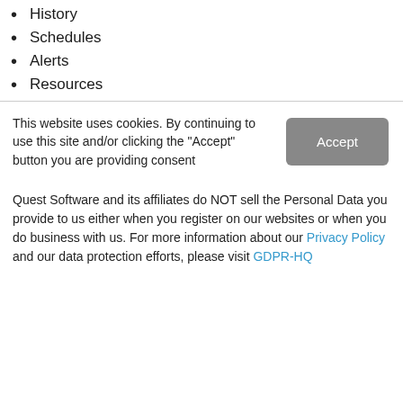History
Schedules
Alerts
Resources
This website uses cookies. By continuing to use this site and/or clicking the "Accept" button you are providing consent
Quest Software and its affiliates do NOT sell the Personal Data you provide to us either when you register on our websites or when you do business with us. For more information about our Privacy Policy and our data protection efforts, please visit GDPR-HQ